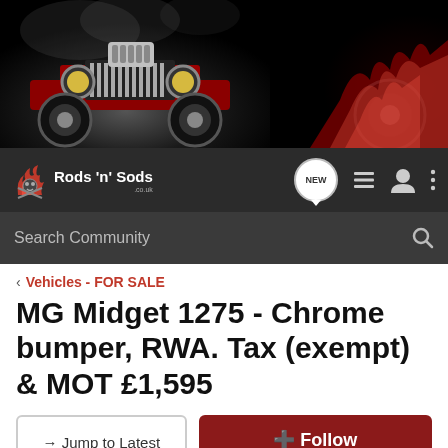[Figure (photo): Dark banner image showing a red hot rod car with chrome details on the left, and a red sports car wheel with flames on the right, against a dark background]
[Figure (logo): Rods 'n' Sods logo with flame/skull graphic and text, on dark navigation bar, with NEW chat bubble icon, list icon, user icon, and three-dots menu icon on the right]
Search Community
< Vehicles - FOR SALE
MG Midget 1275 - Chrome bumper, RWA. Tax (exempt) & MOT £1,595
→ Jump to Latest
+ Follow
1 - 4 of 4 Posts